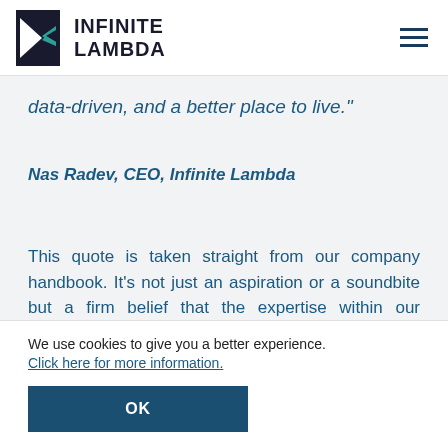[Figure (logo): Infinite Lambda logo with geometric arrow/lambda symbol and company name]
data-driven, and a better place to live."
Nas Radev, CEO, Infinite Lambda
This quote is taken straight from our company handbook. It's not just an aspiration or a soundbite but a firm belief that the expertise within our company has the potential to make a positive and
We use cookies to give you a better experience. Click here for more information.
OK